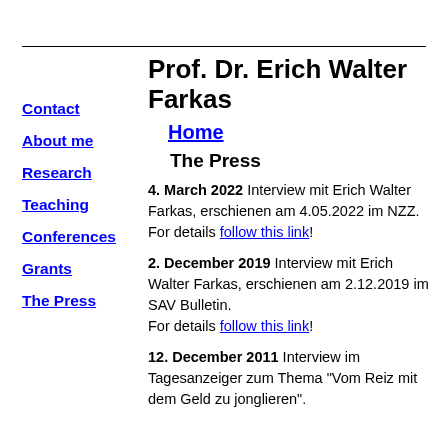Prof. Dr. Erich Walter Farkas
Home
The Press
Contact
About me
Research
Teaching
Conferences
Grants
The Press
4. March 2022 Interview mit Erich Walter Farkas, erschienen am 4.05.2022 im NZZ. For details follow this link!
2. December 2019 Interview mit Erich Walter Farkas, erschienen am 2.12.2019 im SAV Bulletin. For details follow this link!
12. December 2011 Interview im Tagesanzeiger zum Thema "Vom Reiz mit dem Geld zu jonglieren".